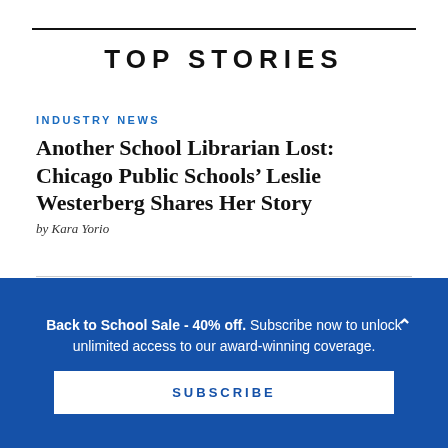TOP STORIES
INDUSTRY NEWS
Another School Librarian Lost: Chicago Public Schools’ Leslie Westerberg Shares Her Story
by Kara Yorio
CENSORSHIP
Facing Angry Parents? Keep Cool when Adults Demand Book Removal | Sele on Censorship
Back to School Sale - 40% off. Subscribe now to unlock unlimited access to our award-winning coverage.
SUBSCRIBE